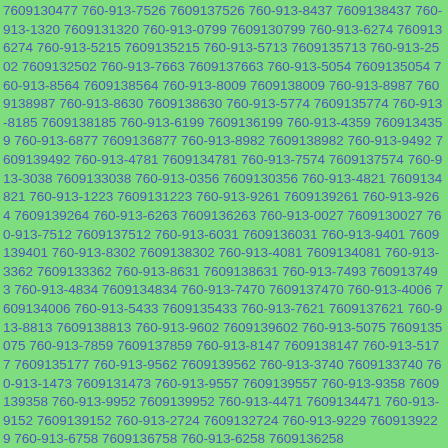7609130477 760-913-7526 7609137526 760-913-8437 7609138437 760-913-1320 7609131320 760-913-0799 7609130799 760-913-6274 7609136274 760-913-5215 7609135215 760-913-5713 7609135713 760-913-2502 7609132502 760-913-7663 7609137663 760-913-5054 7609135054 760-913-8564 7609138564 760-913-8009 7609138009 760-913-8987 7609138987 760-913-8630 7609138630 760-913-5774 7609135774 760-913-8185 7609138185 760-913-6199 7609136199 760-913-4359 7609134359 760-913-6877 7609136877 760-913-8982 7609138982 760-913-9492 7609139492 760-913-4781 7609134781 760-913-7574 7609137574 760-913-3038 7609133038 760-913-0356 7609130356 760-913-4821 7609134821 760-913-1223 7609131223 760-913-9261 7609139261 760-913-9264 7609139264 760-913-6263 7609136263 760-913-0027 7609130027 760-913-7512 7609137512 760-913-6031 7609136031 760-913-9401 7609139401 760-913-8302 7609138302 760-913-4081 7609134081 760-913-3362 7609133362 760-913-8631 7609138631 760-913-7493 7609137493 760-913-4834 7609134834 760-913-7470 7609137470 760-913-4006 7609134006 760-913-5433 7609135433 760-913-7621 7609137621 760-913-8813 7609138813 760-913-9602 7609139602 760-913-5075 7609135075 760-913-7859 7609137859 760-913-8147 7609138147 760-913-5177 7609135177 760-913-9562 7609139562 760-913-3740 7609133740 760-913-1473 7609131473 760-913-9557 7609139557 760-913-9358 7609139358 760-913-9952 7609139952 760-913-4471 7609134471 760-913-9152 7609139152 760-913-2724 7609132724 760-913-9229 7609139229 760-913-6758 7609136758 760-913-6258 7609136258